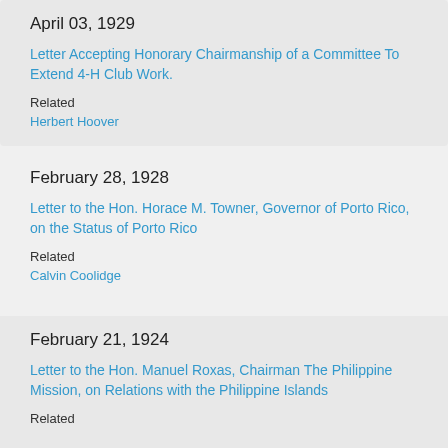April 03, 1929
Letter Accepting Honorary Chairmanship of a Committee To Extend 4-H Club Work.
Related
Herbert Hoover
February 28, 1928
Letter to the Hon. Horace M. Towner, Governor of Porto Rico, on the Status of Porto Rico
Related
Calvin Coolidge
February 21, 1924
Letter to the Hon. Manuel Roxas, Chairman The Philippine Mission, on Relations with the Philippine Islands
Related